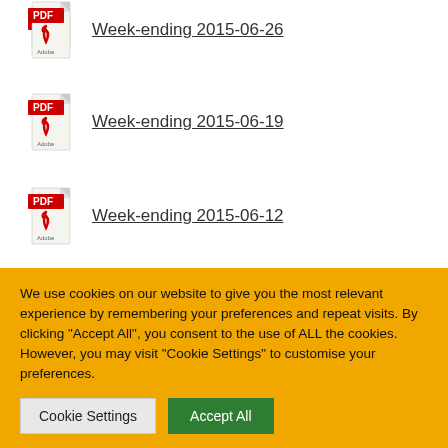Week-ending 2015-06-26
Week-ending 2015-06-19
Week-ending 2015-06-12
We use cookies on our website to give you the most relevant experience by remembering your preferences and repeat visits. By clicking “Accept All”, you consent to the use of ALL the cookies. However, you may visit “Cookie Settings” to customise your preferences.